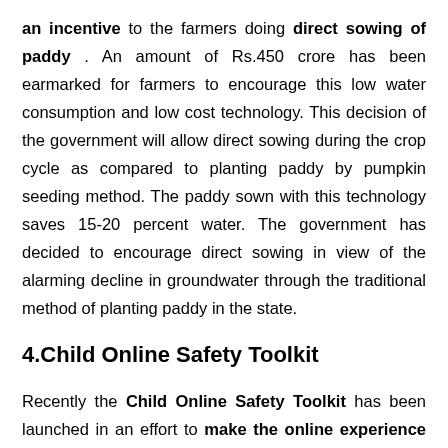an incentive to the farmers doing direct sowing of paddy . An amount of Rs.450 crore has been earmarked for farmers to encourage this low water consumption and low cost technology. This decision of the government will allow direct sowing during the crop cycle as compared to planting paddy by pumpkin seeding method. The paddy sown with this technology saves 15-20 percent water. The government has decided to encourage direct sowing in view of the alarming decline in groundwater through the traditional method of planting paddy in the state.
4.Child Online Safety Toolkit
Recently the Child Online Safety Toolkit has been launched in an effort to make the online experience safer for children . 5Rights, a UK – based NGO working to prioritize the rights and needs of children in the digital worldWritten and put